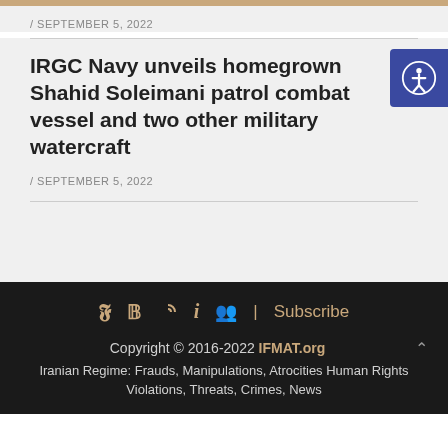/ SEPTEMBER 5, 2022
IRGC Navy unveils homegrown Shahid Soleimani patrol combat vessel and two other military watercraft
/ SEPTEMBER 5, 2022
[Figure (other): Accessibility button with person icon in blue square]
Copyright © 2016-2022 IFMAT.org Iranian Regime: Frauds, Manipulations, Atrocities Human Rights Violations, Threats, Crimes, News